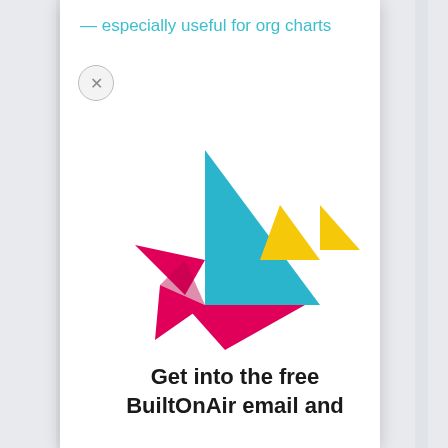— especially useful for org charts
[Figure (logo): BuiltOnAir origami bird logo made of geometric tangram shapes in cyan/teal, magenta/pink, and yellow colors]
Get into the free BuiltOnAir email and